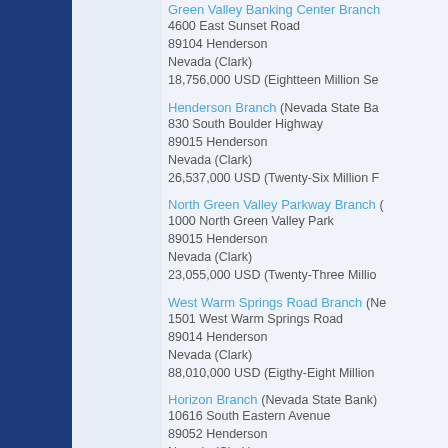Green Valley Banking Center Branch
4600 East Sunset Road
89104 Henderson
Nevada (Clark)
18,756,000 USD (Eightteen Million Se...
Henderson Branch (Nevada State Ba...
830 South Boulder Highway
89015 Henderson
Nevada (Clark)
26,537,000 USD (Twenty-Six Million F...
North Green Valley Parkway Branch (...
1000 North Green Valley Park
89015 Henderson
Nevada (Clark)
23,055,000 USD (Twenty-Three Millio...
West Warm Springs Road Branch (Ne...
1501 West Warm Springs Road
89014 Henderson
Nevada (Clark)
88,010,000 USD (Eigthy-Eight Million...
Horizon Branch (Nevada State Bank)
10616 South Eastern Avenue
89052 Henderson
Nevada (Clark)
17,195,000 USD (Seventeen Million O...
Sunset Branch (Nevada State Bank)
4001 East Sunset Road
89014 Henderson